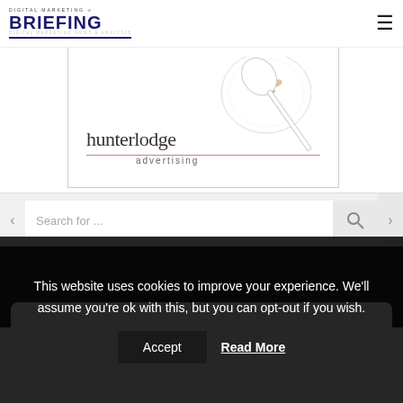Digital Marketing Briefing
[Figure (illustration): Hunterlodge Advertising banner ad with spoon, plate, and branding]
Search for ...
[Figure (screenshot): Dark navigation band with partial white card]
This website uses cookies to improve your experience. We'll assume you're ok with this, but you can opt-out if you wish.
Accept   Read More